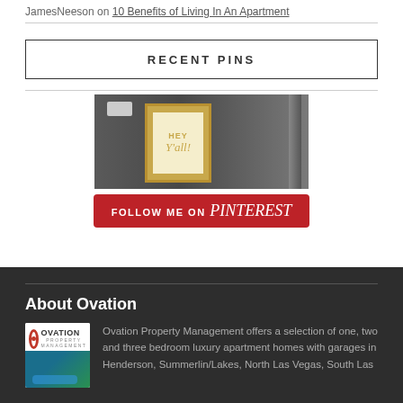JamesNeeson on 10 Benefits of Living In An Apartment
RECENT PINS
[Figure (photo): Interior room photo showing a framed 'Hey Y'all!' sign on wall with lamp]
[Figure (other): Follow me on Pinterest button (red button with Pinterest branding)]
About Ovation
[Figure (logo): Ovation Property Management logo with property photo]
Ovation Property Management offers a selection of one, two and three bedroom luxury apartment homes with garages in Henderson, Summerlin/Lakes, North Las Vegas, South Las...